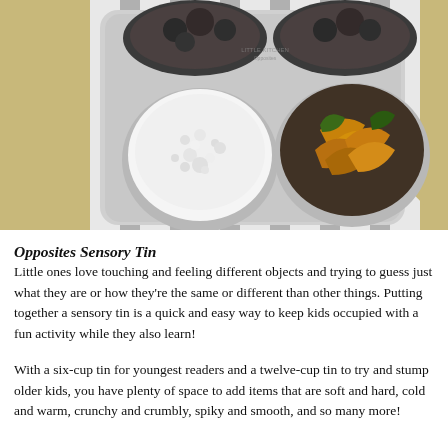[Figure (photo): Overhead view of a round metal sensory tin tray on a grey and white striped cloth. The tray contains multiple circular cups filled with different textures: one with white salt/ice crystals, one with crinkled dry autumn leaves in orange and brown, and one with dark round objects (possibly rocks or seeds) visible at the top.]
Opposites Sensory Tin
Little ones love touching and feeling different objects and trying to guess just what they are or how they're the same or different than other things. Putting together a sensory tin is a quick and easy way to keep kids occupied with a fun activity while they also learn!
With a six-cup tin for youngest readers and a twelve-cup tin to try and stump older kids, you have plenty of space to add items that are soft and hard, cold and warm, crunchy and crumbly, spiky and smooth, and so many more!